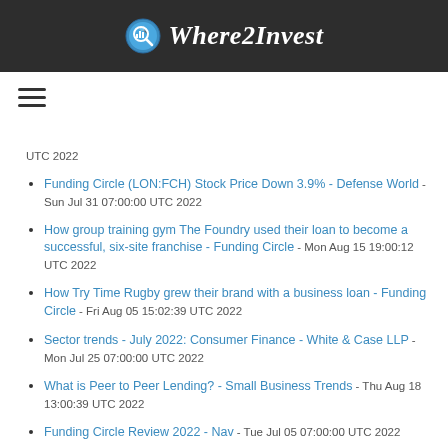Where2Invest
Funding Circle (LON:FCH) Stock Price Down 3.9% - Defense World - Sun Jul 31 07:00:00 UTC 2022
How group training gym The Foundry used their loan to become a successful, six-site franchise - Funding Circle - Mon Aug 15 19:00:12 UTC 2022
How Try Time Rugby grew their brand with a business loan - Funding Circle - Fri Aug 05 15:02:39 UTC 2022
Sector trends - July 2022: Consumer Finance - White & Case LLP - Mon Jul 25 07:00:00 UTC 2022
What is Peer to Peer Lending? - Small Business Trends - Thu Aug 18 13:00:39 UTC 2022
Funding Circle Review 2022 - Nav - Tue Jul 05 07:00:00 UTC 2022
Funding Circle and Pitney Bowes Announce Small Business Loan Partnership - Small Business Trends - Wed Mar 23 07:00:00 UTC 2022
Funding Circle Introduces Small Business Loan Program to the BancAlliance Network - Business Wire - Mon May 23